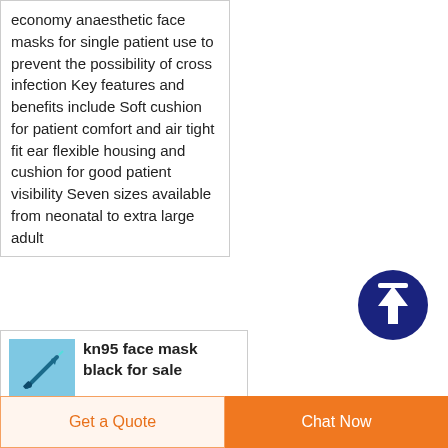economy anaesthetic face masks for single patient use to prevent the possibility of cross infection Key features and benefits include Soft cushion for patient comfort and air tight fit ear flexible housing and cushion for good patient visibility Seven sizes available from neonatal to extra large adult
[Figure (other): Dark blue circular scroll-to-top button with white upward arrow]
[Figure (other): Small product thumbnail image showing a syringe/needle on blue background]
kn95 face mask black for sale
eBay
Get the best deals for kn95
Get a Quote
Chat Now